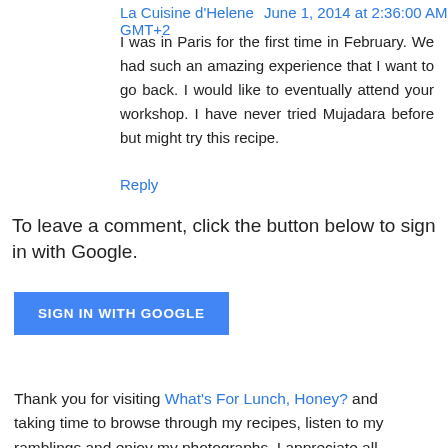La Cuisine d'Helene June 1, 2014 at 2:36:00 AM GMT+2
I was in Paris for the first time in February. We had such an amazing experience that I want to go back. I would like to eventually attend your workshop. I have never tried Mujadara before but might try this recipe.
Reply
To leave a comment, click the button below to sign in with Google.
SIGN IN WITH GOOGLE
Thank you for visiting What's For Lunch, Honey? and taking time to browse through my recipes, listen to my ramblings and enjoy my photographs. I appreciate all your comments, feedback and input. I will answer your questions to my best knowledge and respond to your comments as soon as possible.
In the meantime I hope you enjoy your stay here